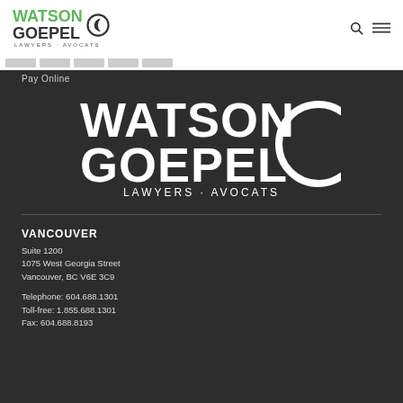[Figure (logo): Watson Goepel Lawyers · Avocats logo in top white header bar with green WATSON text and gray GOEPEL text with crescent circle icon]
Pay Online
[Figure (logo): Watson Goepel Lawyers · Avocats white logo on dark background with large text and crescent circle icon]
VANCOUVER
Suite 1200
1075 West Georgia Street
Vancouver, BC V6E 3C9
Telephone: 604.688.1301
Toll-free: 1.855.688.1301
Fax: 604.688.8193